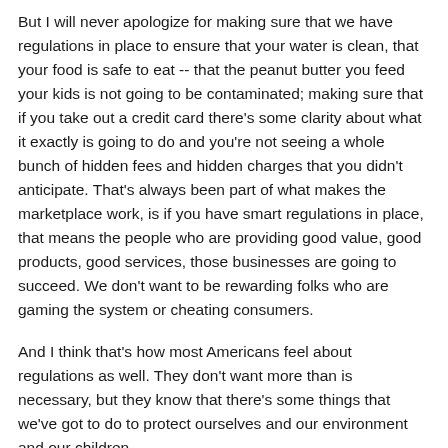But I will never apologize for making sure that we have regulations in place to ensure that your water is clean, that your food is safe to eat -- that the peanut butter you feed your kids is not going to be contaminated; making sure that if you take out a credit card there's some clarity about what it exactly is going to do and you're not seeing a whole bunch of hidden fees and hidden charges that you didn't anticipate. That's always been part of what makes the marketplace work, is if you have smart regulations in place, that means the people who are providing good value, good products, good services, those businesses are going to succeed. We don't want to be rewarding folks who are gaming the system or cheating consumers.
And I think that's how most Americans feel about regulations as well. They don't want more than is necessary, but they know that there's some things that we've got to do to protect ourselves and our environment and our children.
MR. WEINER: Thank you for your question, Marla.